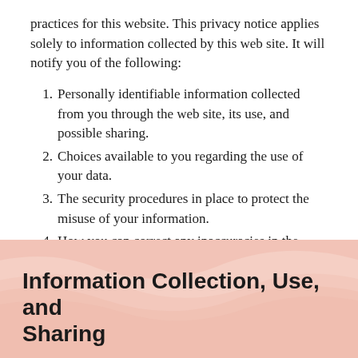practices for this website. This privacy notice applies solely to information collected by this web site. It will notify you of the following:
Personally identifiable information collected from you through the web site, its use, and possible sharing.
Choices available to you regarding the use of your data.
The security procedures in place to protect the misuse of your information.
How you can correct any inaccuracies in the information.
Information Collection, Use, and Sharing